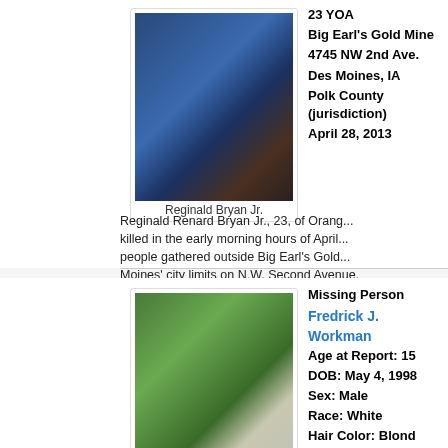[Figure (photo): Portrait photo of Reginald Bryan Jr., a young Black male in formal attire with bow tie]
Reginald Bryan Jr.
23 YOA
Big Earl's Gold Mine
4745 NW 2nd Ave.
Des Moines, IA
Polk County (jurisdiction)
April 28, 2013
Reginald Renard Bryan Jr., 23, of Orang... killed in the early morning hours of April... people gathered outside Big Earl's Gold... Moines' city limits on N.W. Second Avenue.
[Figure (photo): Portrait photo of Fredrick Workman, a young White male with blond hair]
Fredrick Workman
Missing Person
Fredrick J. Workman
Age at Report: 15
DOB: May 4, 1998
Sex: Male
Race: White
Hair Color: Blond
Eye Color: Blue
Height: 5'3" – 5'7"
Weight: 126 – 145 lbs.
Missing From: Des Moines, IA